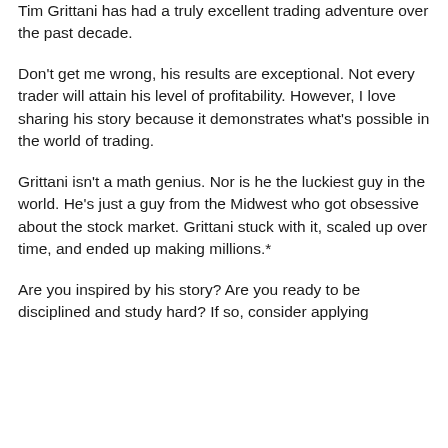Tim Grittani has had a truly excellent trading adventure over the past decade.
Don't get me wrong, his results are exceptional. Not every trader will attain his level of profitability. However, I love sharing his story because it demonstrates what's possible in the world of trading.
Grittani isn't a math genius. Nor is he the luckiest guy in the world. He's just a guy from the Midwest who got obsessive about the stock market. Grittani stuck with it, scaled up over time, and ended up making millions.*
Are you inspired by his story? Are you ready to be disciplined and study hard? If so, consider applying